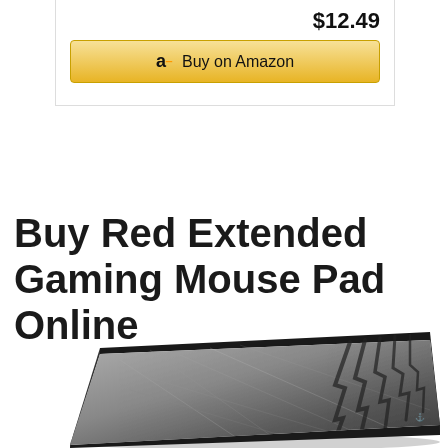$12.49
[Figure (screenshot): Amazon 'Buy on Amazon' button with Amazon logo 'a' and gold background]
Buy Red Extended Gaming Mouse Pad Online
[Figure (photo): Extended gaming mouse pad shown in perspective view, dark/black with grey textured surface and claw/lightning bolt graphic on the right side]